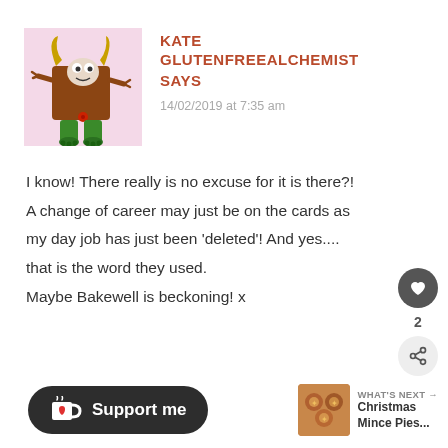[Figure (illustration): Cartoon monster avatar with horns, brown body, green legs, used as blog commenter profile picture]
KATE GLUTENFREEALCHEMIST SAYS
14/02/2019 at 7:35 am
I know! There really is no excuse for it is there?! A change of career may just be on the cards as my day job has just been 'deleted'! And yes.... that is the word they used. Maybe Bakewell is beckoning! x
[Figure (illustration): Christmas Mince Pies thumbnail image for What's Next widget]
WHAT'S NEXT → Christmas Mince Pies...
Support me